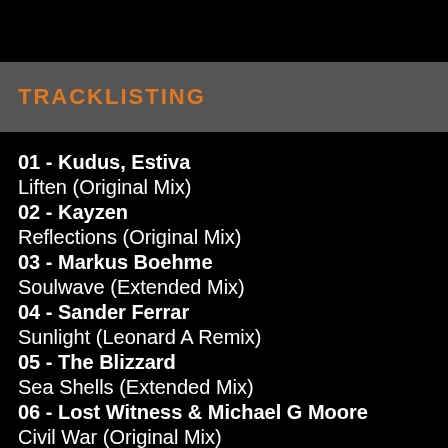TRACKLISTING
01 - Kudus, Estiva
Liften (Original Mix)
02 - Kayzen
Reflections (Original Mix)
03 - Markus Boehme
Soulwave (Extended Mix)
04 - Sander Ferrar
Sunlight (Leonard A Remix)
05 - The Blizzard
Sea Shells (Extended Mix)
06 - Lost Witness & Michael G Moore
Civil War (Original Mix)
07 - Ryan Raya
Awesome Moments (A.L.Y.S. Remix)
08 - Follenberg